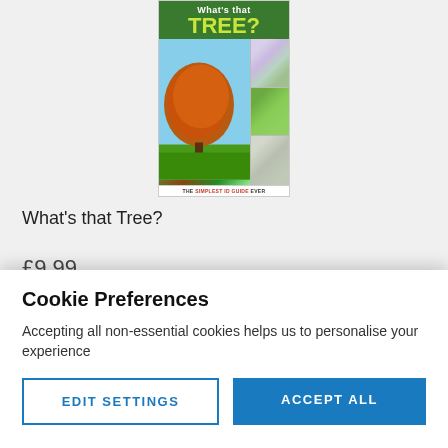[Figure (photo): Book cover for 'What's that Tree?' with green title bar, photos of trees and nature, subtitle 'THE SIMPLEST ID GUIDE EVER']
What's that Tree?
Cookie Preferences
Accepting all non-essential cookies helps us to personalise your experience
EDIT SETTINGS
ACCEPT ALL